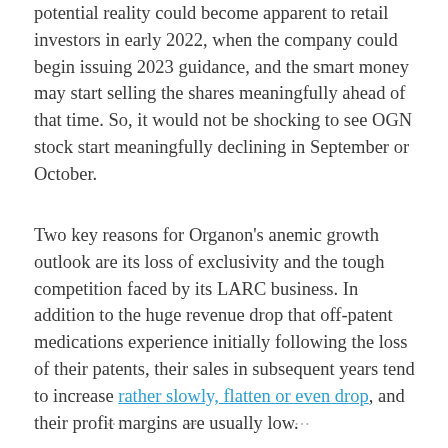potential reality could become apparent to retail investors in early 2022, when the company could begin issuing 2023 guidance, and the smart money may start selling the shares meaningfully ahead of that time. So, it would not be shocking to see OGN stock start meaningfully declining in September or October.
Two key reasons for Organon's anemic growth outlook are its loss of exclusivity and the tough competition faced by its LARC business. In addition to the huge revenue drop that off-patent medications experience initially following the loss of their patents, their sales in subsequent years tend to increase rather slowly, flatten or even drop, and their profit margins are usually low.
...additional text continues...